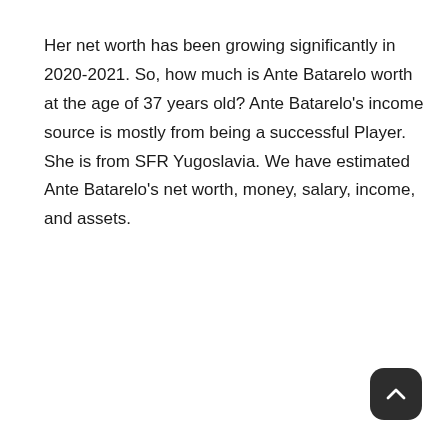Her net worth has been growing significantly in 2020-2021. So, how much is Ante Batarelo worth at the age of 37 years old? Ante Batarelo's income source is mostly from being a successful Player. She is from SFR Yugoslavia. We have estimated Ante Batarelo's net worth, money, salary, income, and assets.